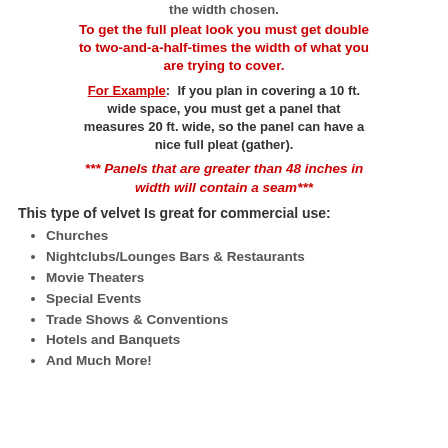the width chosen.
To get the full pleat look you must get double to two-and-a-half-times the width of what you are trying to cover.
For Example:  If you plan in covering a 10 ft. wide space, you must get a panel that measures 20 ft. wide, so the panel can have a nice full pleat (gather).
*** Panels that are greater than 48 inches in width will contain a seam***
This type of velvet Is great for commercial use:
Churches
Nightclubs/Lounges Bars & Restaurants
Movie Theaters
Special Events
Trade Shows & Conventions
Hotels and Banquets
And Much More!